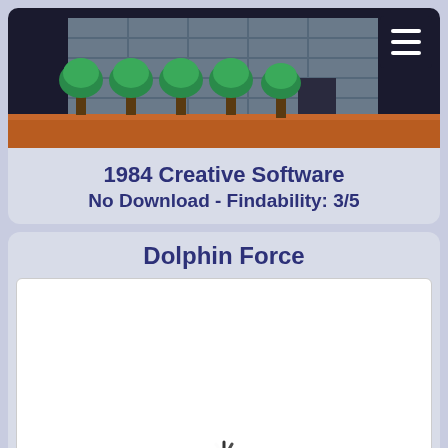[Figure (screenshot): Screenshot of a retro pixel-art game showing a building with trees and orange ground]
1984 Creative Software
No Download - Findability: 3/5
Dolphin Force
[Figure (screenshot): White iframe area with a loading spinner at the bottom center, representing an embedded game that is loading]